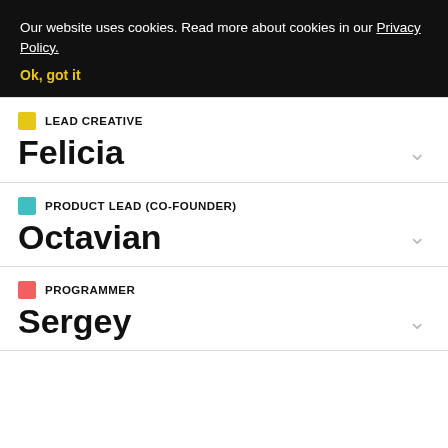Our website uses cookies. Read more about cookies in our Privacy Policy.
Ok, got it
LEAD CREATIVE
Felicia
PRODUCT LEAD (CO-FOUNDER)
Octavian
PROGRAMMER
Sergey